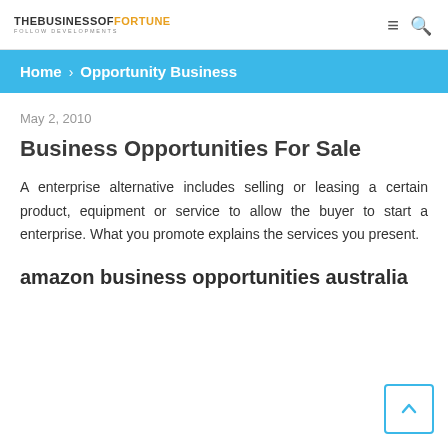THE BUSINESS OF FORTUNE — FOLLOW DEVELOPMENTS
Home › Opportunity Business
May 2, 2010
Business Opportunities For Sale
A enterprise alternative includes selling or leasing a certain product, equipment or service to allow the buyer to start a enterprise. What you promote explains the services you present.
amazon business opportunities australia